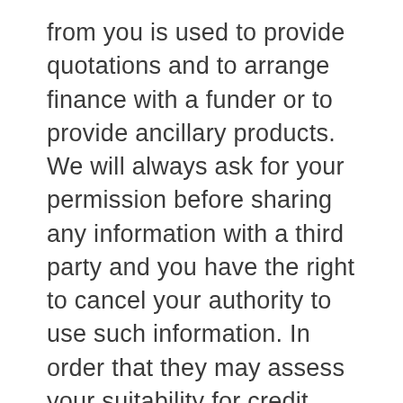from you is used to provide quotations and to arrange finance with a funder or to provide ancillary products. We will always ask for your permission before sharing any information with a third party and you have the right to cancel your authority to use such information. In order that they may assess your suitability for credit, finance providers and some other service providers will make a search with a credit reference agency and this will leave a footprint on your credit file. If you are a company or partnership, they will also make enquiries about the director(s) or partners with a credit reference agency. Some funders and service providers may carry out